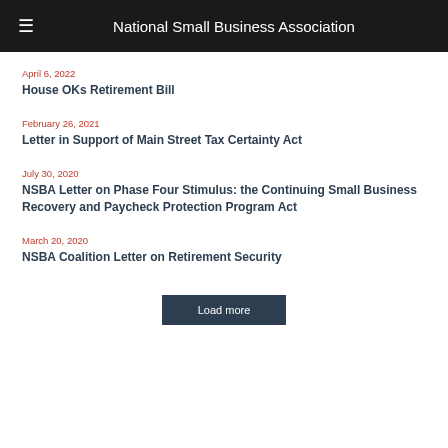National Small Business Association
April 6, 2022
House OKs Retirement Bill
February 26, 2021
Letter in Support of Main Street Tax Certainty Act
July 30, 2020
NSBA Letter on Phase Four Stimulus: the Continuing Small Business Recovery and Paycheck Protection Program Act
March 20, 2020
NSBA Coalition Letter on Retirement Security
Load more